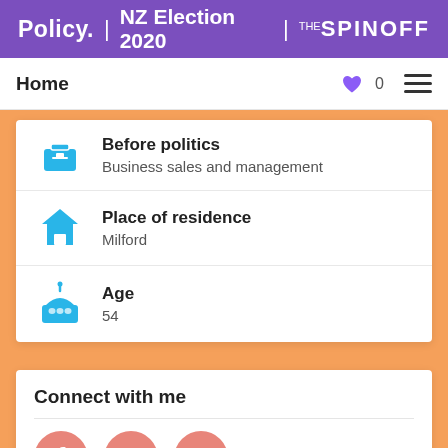Policy. | NZ Election 2020 | THE SPINOFF
Home   ♥ 0  ☰
Before politics
Business sales and management
Place of residence
Milford
Age
54
Connect with me